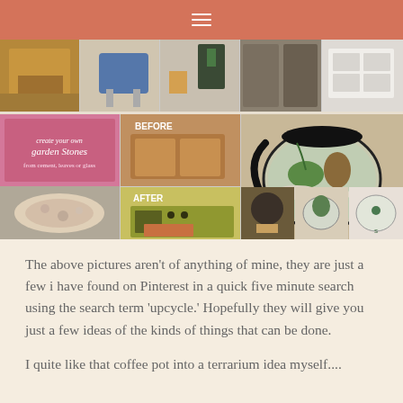Navigation menu bar with hamburger icon
[Figure (photo): Collage of DIY upcycling project photos: furniture, garden stones, a before/after nightstand turned play kitchen, a coffee pot terrarium, and related small images from Pinterest]
The above pictures aren't of anything of mine, they are just a few i have found on Pinterest in a quick five minute search using the search term 'upcycle.' Hopefully they will give you just a few ideas of the kinds of things that can be done.
I quite like that coffee pot into a terrarium idea myself....